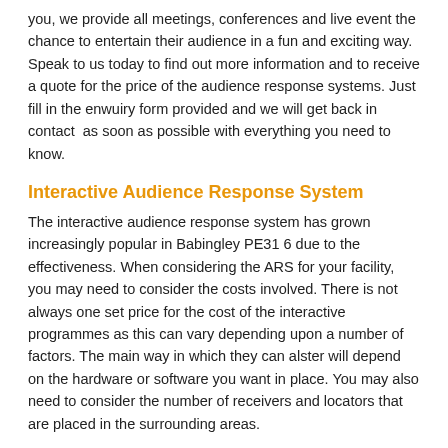you, we provide all meetings, conferences and live event the chance to entertain their audience in a fun and exciting way. Speak to us today to find out more information and to receive a quote for the price of the audience response systems. Just fill in the enwuiry form provided and we will get back in contact  as soon as possible with everything you need to know.
Interactive Audience Response System
The interactive audience response system has grown increasingly popular in Babingley PE31 6 due to the effectiveness. When considering the ARS for your facility, you may need to consider the costs involved. There is not always one set price for the cost of the interactive programmes as this can vary depending upon a number of factors. The main way in which they can alster will depend on the hardware or software you want in place. You may also need to consider the number of receivers and locators that are placed in the surrounding areas.
Feel free to contact our team today if you are interested in receiving a price for the audience reactive systems. Our specialists have years of experience and expert knowledge and so can find